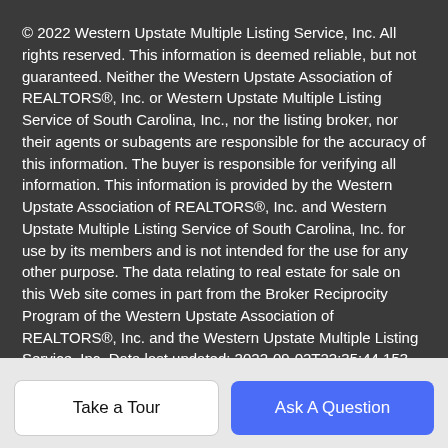© 2022 Western Upstate Multiple Listing Service, Inc. All rights reserved. This information is deemed reliable, but not guaranteed. Neither the Western Upstate Association of REALTORS®, Inc. or Western Upstate Multiple Listing Service of South Carolina, Inc., nor the listing broker, nor their agents or subagents are responsible for the accuracy of this information. The buyer is responsible for verifying all information. This information is provided by the Western Upstate Association of REALTORS®, Inc. and Western Upstate Multiple Listing Service of South Carolina, Inc. for use by its members and is not intended for the use for any other purpose. The data relating to real estate for sale on this Web site comes in part from the Broker Reciprocity Program of the Western Upstate Association of REALTORS®, Inc. and the Western Upstate Multiple Listing Service, Inc. Data last updated: 2022-09-02T22:35:44.153.